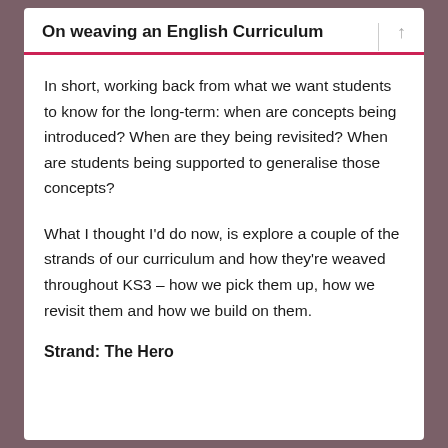On weaving an English Curriculum
In short, working back from what we want students to know for the long-term: when are concepts being introduced? When are they being revisited? When are students being supported to generalise those concepts?
What I thought I’d do now, is explore a couple of the strands of our curriculum and how they’re weaved throughout KS3 – how we pick them up, how we revisit them and how we build on them.
Strand: The Hero